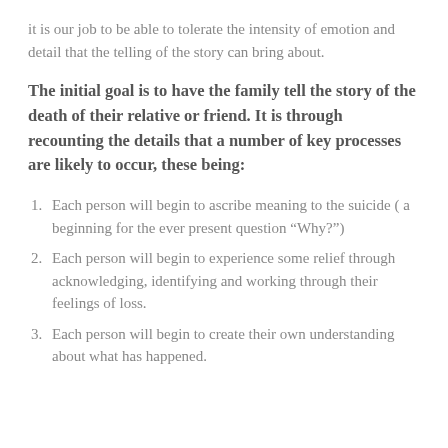it is our job to be able to tolerate the intensity of emotion and detail that the telling of the story can bring about.
The initial goal is to have the family tell the story of the death of their relative or friend. It is through recounting the details that a number of key processes are likely to occur, these being:
Each person will begin to ascribe meaning to the suicide ( a beginning for the ever present question “Why?”)
Each person will begin to experience some relief through acknowledging, identifying and working through their feelings of loss.
Each person will begin to create their own understanding about what has happened.